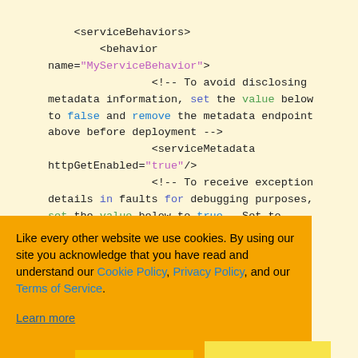[Figure (screenshot): XML/WCF configuration code snippet on a pale yellow background showing behaviors, serviceBehaviors, behavior elements with comments about metadata and exception details. Keywords and string values are syntax-highlighted in blue, green, and purple.]
Like every other website we use cookies. By using our site you acknowledge that you have read and understand our Cookie Policy, Privacy Policy, and our Terms of Service.
Learn more
Ask me later   Decline   Allow cookies